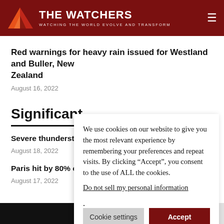THE WATCHERS — WATCHING THE WORLD EVOLVE AND TRANSFORM
Red warnings for heavy rain issued for Westland and Buller, New Zealand
August 16, 2022
Significant
Severe thundersto... least 13 injured, Fr...
August 18, 2022
Paris hit by 80% o...
August 17, 2022
We use cookies on our website to give you the most relevant experience by remembering your preferences and repeat visits. By clicking “Accept”, you consent to the use of ALL the cookies.
Do not sell my personal information.